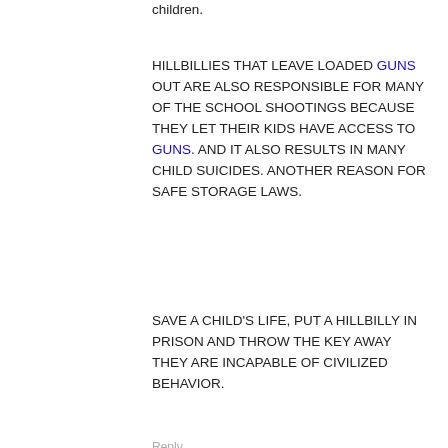children.
HILLBILLIES THAT LEAVE LOADED GUNS OUT ARE ALSO RESPONSIBLE FOR MANY OF THE SCHOOL SHOOTINGS BECAUSE THEY LET THEIR KIDS HAVE ACCESS TO GUNS. AND IT ALSO RESULTS IN MANY CHILD SUICIDES. ANOTHER REASON FOR SAFE STORAGE LAWS.
SAVE A CHILD’S LIFE, PUT A HILLBILLY IN PRISON AND THROW THE KEY AWAY THEY ARE INCAPABLE OF CIVILIZED BEHAVIOR.
Reply
[Figure (photo): Advertisement showing a rifle and magazine with text 'When reliability matters, make the wise choice.' and a 'Shop Dealers' button. WISE logo visible.]
ey define
if not to